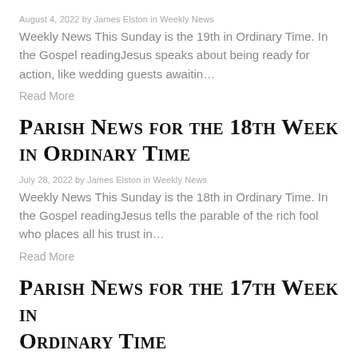August 4, 2022 by James Elston in Weekly News
Weekly News This Sunday is the 19th in Ordinary Time. In the Gospel readingJesus speaks about being ready for action, like wedding guests awaitin…
Read More
Parish News for the 18th Week in Ordinary Time
July 28, 2022 by James Elston in Weekly News
Weekly News This Sunday is the 18th in Ordinary Time. In the Gospel readingJesus tells the parable of the rich fool who places all his trust in…
Read More
Parish News for the 17th Week in Ordinary Time